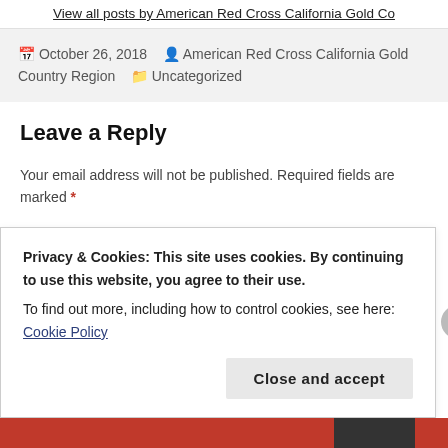View all posts by American Red Cross California Gold Co
October 26, 2018  American Red Cross California Gold Country Region  Uncategorized
Leave a Reply
Your email address will not be published. Required fields are marked *
COMMENT *
Privacy & Cookies: This site uses cookies. By continuing to use this website, you agree to their use.
To find out more, including how to control cookies, see here: Cookie Policy
Close and accept